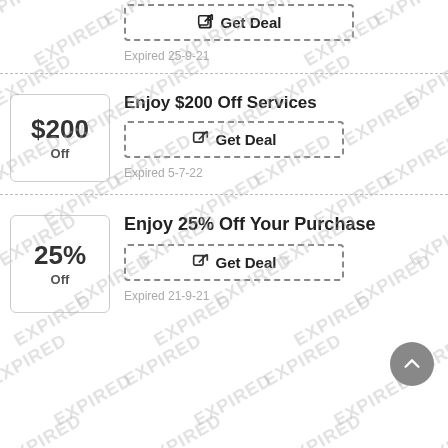[Figure (other): Partial coupon card at top with Get Deal button and expired date 25-9-21]
Expired 25-9-21
[Figure (other): Coupon badge showing $200 Off]
Enjoy $200 Off Services
Get Deal
Expired 5-7-22
[Figure (other): Coupon badge showing 25% Off]
Enjoy 25% Off Your Purchase
Get Deal
Expired 21-9-21